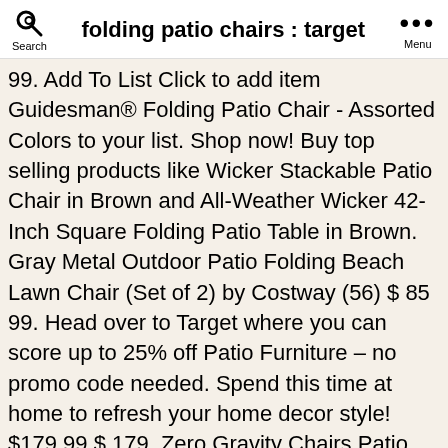folding patio chairs : target
99. Add To List Click to add item Guidesman® Folding Patio Chair - Assorted Colors to your list. Shop now! Buy top selling products like Wicker Stackable Patio Chair in Brown and All-Weather Wicker 42-Inch Square Folding Patio Table in Brown. Gray Metal Outdoor Patio Folding Beach Lawn Chair (Set of 2) by Costway (56) $ 85 99. Head over to Target where you can score up to 25% off Patio Furniture – no promo code needed. Spend this time at home to refresh your home decor style! $179.99 $ 179. Zero Gravity Chairs Patio Set of 2 with Pillow and Cup Holder Patio Furniture Outdoor Adjustable Dining Reclining Folding Chairs for Deck Patio Beach Yard. Infinity Love Seat Beige Metal Textilene Reclining Patio Lawn Chair. 99. Mountain Back Wicker Patio Furniture Set, 4-Piece. Target never disappoints!. $269.00 ® 16" Square Steel Patio End Table ... Padded Metal Folding Chair, Black. Note that many of these items are not available for shipping, but you can choose free in-store